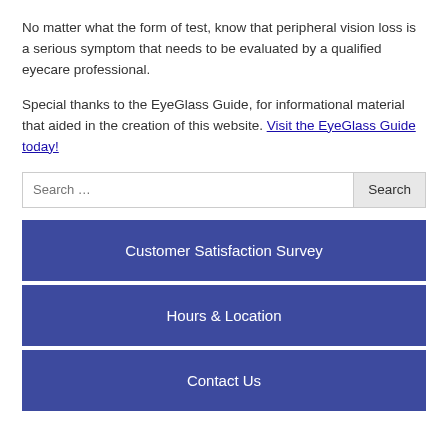No matter what the form of test, know that peripheral vision loss is a serious symptom that needs to be evaluated by a qualified eyecare professional.
Special thanks to the EyeGlass Guide, for informational material that aided in the creation of this website. Visit the EyeGlass Guide today!
Search ...
Customer Satisfaction Survey
Hours & Location
Contact Us